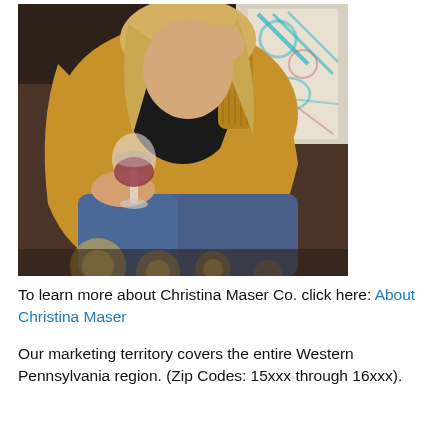[Figure (photo): A woman with blonde hair sitting on a dark sofa, wearing a mustard yellow knit cardigan and black shirt, holding a glass of red wine. She has her hand raised near her face. Colorful patterned pillows are visible behind her. In the foreground are blurred candles.]
To learn more about Christina Maser Co. click here: About Christina Maser
Our marketing territory covers the entire Western Pennsylvania region. (Zip Codes: 15xxx through 16xxx).